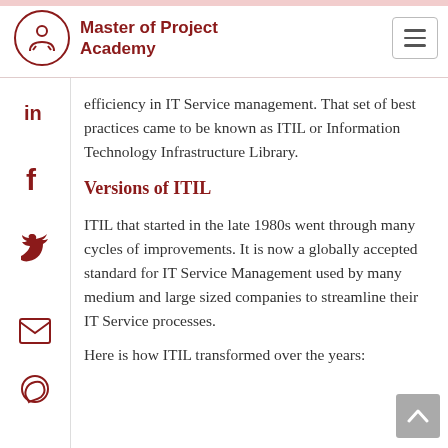Master of Project Academy
efficiency in IT Service management. That set of best practices came to be known as ITIL or Information Technology Infrastructure Library.
Versions of ITIL
ITIL that started in the late 1980s went through many cycles of improvements. It is now a globally accepted standard for IT Service Management used by many medium and large sized companies to streamline their IT Service processes.
Here is how ITIL transformed over the years: